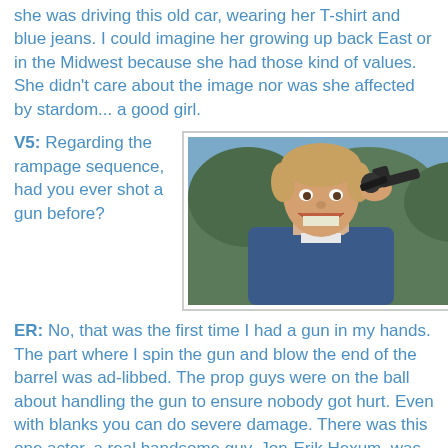she was driving this old car, wearing her T-shirt and blue jeans. I could imagine her growing up back East or in the Midwest because she had those kind of values. She didn't care about the image nor was she affected by stardom... a good girl.
V5: Regarding the rampage sequence, had you ever shot a gun before?
[Figure (photo): A smiling young man in a blue knit sweater holding a revolver to his temple, with trees in the background. Film still.]
ER: No, that was the first time I had a gun in my hands. The part where I spin the gun and blow the end of the barrel was ad-libbed. The prop guys were on the ball about handling the gun to ensure nobody got hurt. Even with blanks you can do severe damage. There was this one actor, a real handsome guy, Jon-Erik Hexum, was playing